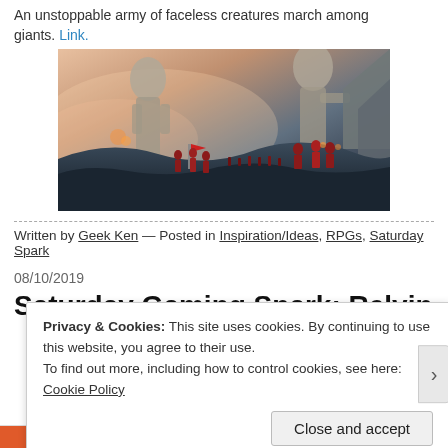An unstoppable army of faceless creatures march among giants. Link.
[Figure (illustration): Fantasy digital art showing a massive army of red-cloaked figures marching below enormous stone giants in a misty, dramatic landscape.]
Written by Geek Ken — Posted in Inspiration/Ideas, RPGs, Saturday Spark
08/10/2019
Saturday Gaming Spark: Relying...
Privacy & Cookies: This site uses cookies. By continuing to use this website, you agree to their use.
To find out more, including how to control cookies, see here: Cookie Policy
Close and accept